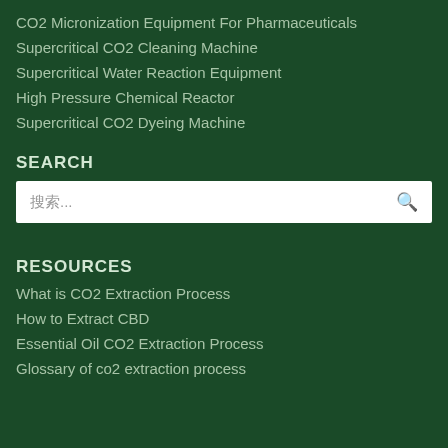CO2 Micronization Equipment For Pharmaceuticals
Supercritical CO2 Cleaning Machine
Supercritical Water Reaction Equipment
High Pressure Chemical Reactor
Supercritical CO2 Dyeing Machine
SEARCH
[Figure (other): Search input box with placeholder text and search icon]
RESOURCES
What is CO2 Extraction Process
How to Extract CBD
Essential Oil CO2 Extraction Process
Glossary of co2 extraction process